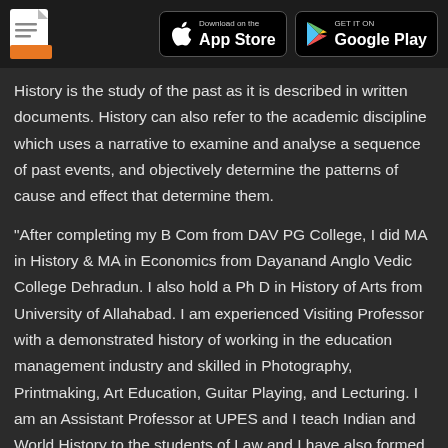App Store / Google Play header with document icon
History is the study of the past as it is described in written documents. History can also refer to the academic discipline which uses a narrative to examine and analyse a sequence of past events, and objectively determine the patterns of cause and effect that determine them.
"After completing my B Com from DAV PG College, I did MA in History & MA in Economics from Dayanand Anglo Vedic College Dehradun. I also hold a Ph D in History of Arts from University of Allahabad. I am experienced Visiting Professor with a demonstrated history of working in the education management industry and skilled in Photography, Printmaking, Art Education, Guitar Playing, and Lecturing. I am an Assistant Professor at UPES and I teach Indian and World History to the students of Law and I have also formed a Music Band called Malhaar in 1999 and I am a Lyricist, Composer, and Guitarist. The very first video of the song title PEERAH was broadcasted on Channel MTV Indies."